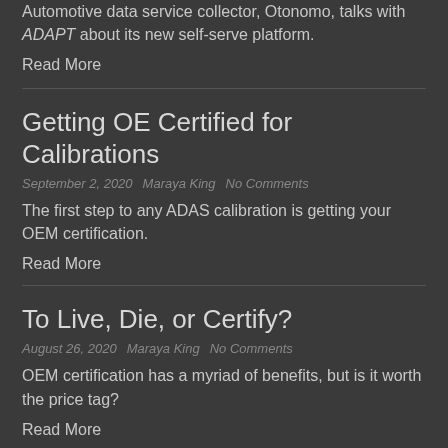Automotive data service collector, Otonomo, talks with ADAPT about its new self-serve platform.
Read More
Getting OE Certified for Calibrations
September 2, 2020   Maraya King   No Comments
The first step to any ADAS calibration is getting your OEM certification.
Read More
To Live, Die, or Certify?
August 26, 2020   Maraya King   No Comments
OEM certification has a myriad of benefits, but is it worth the price tag?
Read More